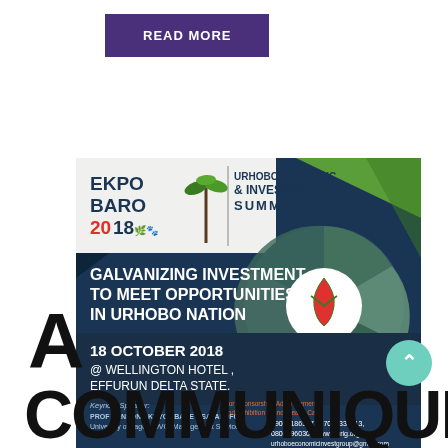READ MORE
[Figure (infographic): Ekpo Baro 2018 Urhobo Economic & Investment Summit promotional banner. Text: GALVANIZING INVESTMENT TO MEET OPPORTUNITIES IN URHOBO NATION. 18 OCTOBER 2018 @ WELLINGTON HOTEL, EFFURUN DELTA STATE. Keynote Speaker: PROF BENSON AKHYOMBARE OSAYAFOFOR University of Lagos, OVC (Management Services). Contact: 09074186317 | 07037334113, 08062960300 | www.urig.org, urhoboeconomicinvestgroup@gmail.com]
A COMMUNIQUÉ